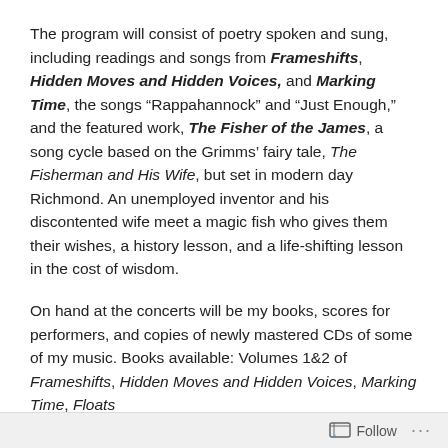The program will consist of poetry spoken and sung, including readings and songs from Frameshifts, Hidden Moves and Hidden Voices, and Marking Time, the songs “Rappahannock” and “Just Enough,” and the featured work, The Fisher of the James, a song cycle based on the Grimms’ fairy tale, The Fisherman and His Wife, but set in modern day Richmond. An unemployed inventor and his discontented wife meet a magic fish who gives them their wishes, a history lesson, and a life-shifting lesson in the cost of wisdom.
On hand at the concerts will be my books, scores for performers, and copies of newly mastered CDs of some of my music. Books available: Volumes 1&2 of Frameshifts, Hidden Moves and Hidden Voices, Marking Time, Floats
Follow